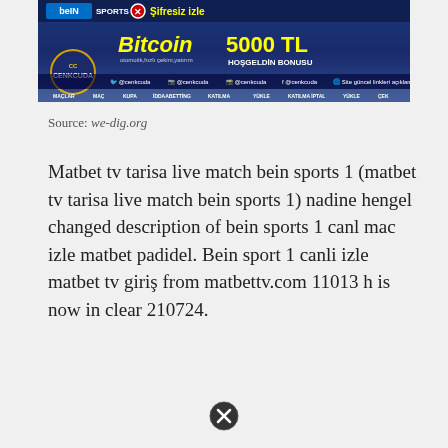[Figure (screenshot): Cenkcuda/BeIN Sports 1 website banner advertisement showing Bitcoin 5000 TL bonus offer, social media links, and navigation bar]
Source: we-dig.org
Matbet tv tarisa live match bein sports 1 (matbet tv tarisa live match bein sports 1) nadine hengel changed description of bein sports 1 canl mac izle matbet padidel. Bein sport 1 canli izle matbet tv giriş from matbettv.com 11013 h is now in clear 210724.